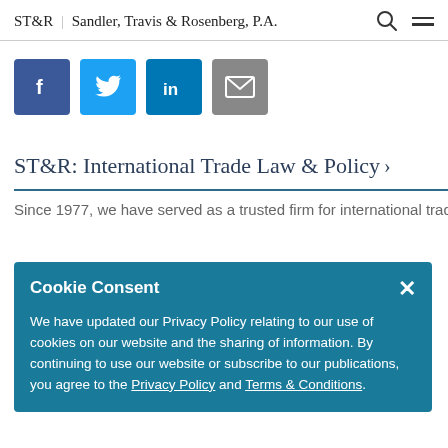ST&R | Sandler, Travis & Rosenberg, P.A.
[Figure (infographic): Social sharing buttons: Facebook (dark blue), Twitter (light blue), LinkedIn (blue), Email (gray)]
ST&R: International Trade Law & Policy
Since 1977, we have served as a trusted firm for international trade...
Cookie Consent

We have updated our Privacy Policy relating to our use of cookies on our website and the sharing of information. By continuing to use our website or subscribe to our publications, you agree to the Privacy Policy and Terms & Conditions.